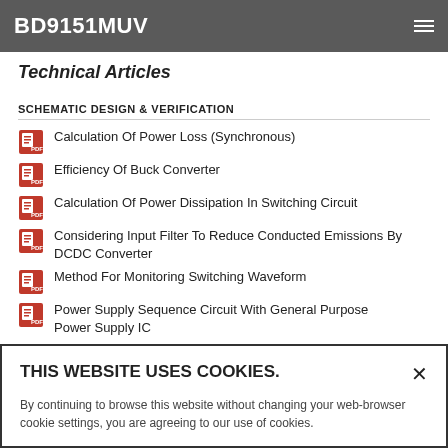BD9151MUV
Technical Articles
SCHEMATIC DESIGN & VERIFICATION
Calculation Of Power Loss (Synchronous)
Efficiency Of Buck Converter
Calculation Of Power Dissipation In Switching Circuit
Considering Input Filter To Reduce Conducted Emissions By DCDC Converter
Method For Monitoring Switching Waveform
Power Supply Sequence Circuit With General Purpose Power Supply IC
THIS WEBSITE USES COOKIES. By continuing to browse this website without changing your web-browser cookie settings, you are agreeing to our use of cookies.